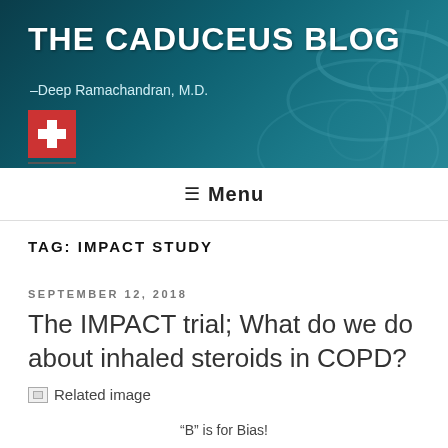THE CADUCEUS BLOG
–Deep Ramachandran, M.D.
≡ Menu
TAG: IMPACT STUDY
SEPTEMBER 12, 2018
The IMPACT trial; What do we do about inhaled steroids in COPD?
[Figure (other): Broken/missing related image placeholder]
"B" is for Bias!